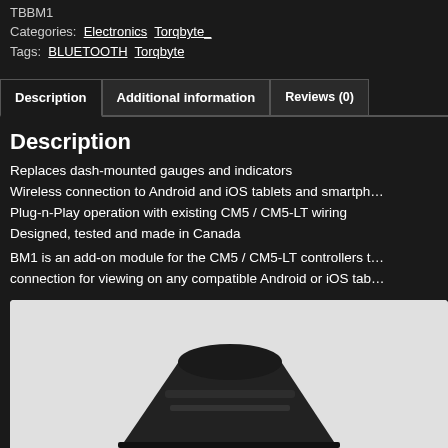TBBM1
Categories: Electronics Torqbyte_
Tags: BLUETOOTH Torqbyte
Description | Additional information | Reviews (0)
Description
Replaces dash-mounted gauges and indicators
Wireless connection to Android and iOS tablets and smartphones
Plug-n-Play operation with existing CM5 / CM5-LT wiring
Designed, tested and made in Canada
BM1 is an add-on module for the CM5 / CM5-LT controllers that provides a Bluetooth connection for viewing on any compatible Android or iOS tablet or smartphone.
[Figure (photo): Product photo of the TBBM1 Bluetooth module device]